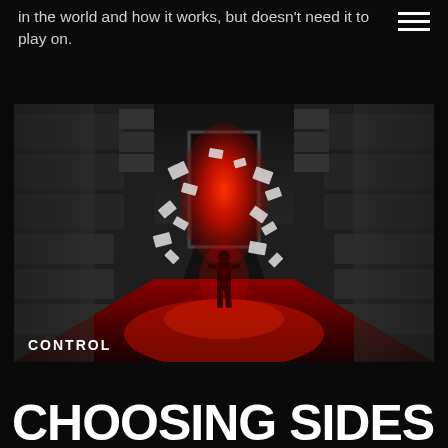in the world and how it works, but doesn't need it to play on.
[Figure (screenshot): Screenshot from the video game Control showing a dark, brutalist interior corridor. A silhouetted character stands on a red-glowing floor facing a doorway emitting intense red light. Papers are flying in the air around the figure. The environment has heavy concrete architecture. The game logo 'CONTROL' appears in the lower left corner of the image.]
CHOOSING SIDES